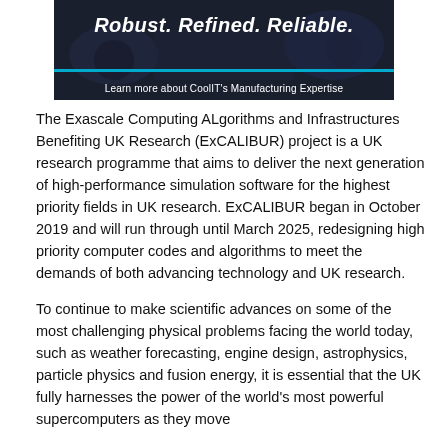[Figure (illustration): CoolIT banner advertisement with dark background showing text 'Robust. Refined. Reliable.' in italic bold white, a cyan horizontal bar, and subtitle 'Learn more about CoolIT's Manufacturing Expertise']
The Exascale Computing ALgorithms and Infrastructures Benefiting UK Research (ExCALIBUR) project is a UK research programme that aims to deliver the next generation of high-performance simulation software for the highest priority fields in UK research. ExCALIBUR began in October 2019 and will run through until March 2025, redesigning high priority computer codes and algorithms to meet the demands of both advancing technology and UK research.
To continue to make scientific advances on some of the most challenging physical problems facing the world today, such as weather forecasting, engine design, astrophysics, particle physics and fusion energy, it is essential that the UK fully harnesses the power of the world's most powerful supercomputers as they move